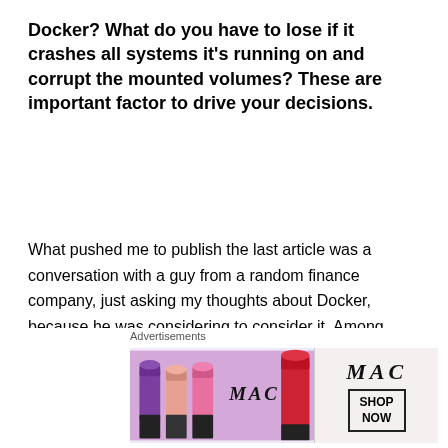Docker? What do you have to lose if it crashes all systems it's running on and corrupt the mounted volumes? These are important factor to drive your decisions.
What pushed me to publish the last article was a conversation with a guy from a random finance company, just asking my thoughts about Docker, because he was considering to consider it. Among other things, this company -and this guy in particular- manages systems that handle trillions of dollars, including the pensions of millions of Americans.
Docker is nowhere ready to handle my mother's pension,
Advertisements
[Figure (photo): MAC cosmetics advertisement banner showing colorful lipsticks on the left and MAC logo with SHOP NOW button on the right]